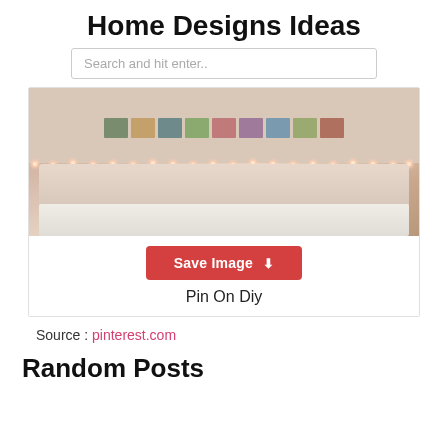Home Designs Ideas
Search and hit enter..
[Figure (photo): Bedroom with string lights along the headboard and a photo gallery wall above the bed]
Save Image
Pin On Diy
Source : pinterest.com
Random Posts